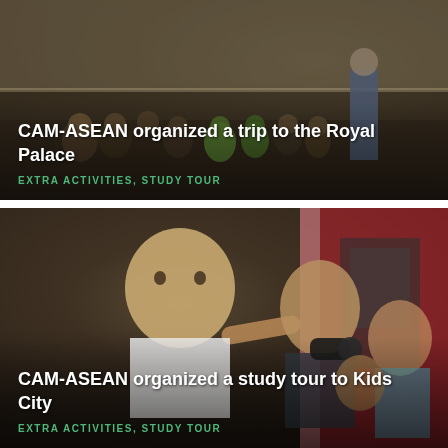[Figure (photo): Photo of children sitting on steps at the Royal Palace, listening to a guide or teacher standing in front of them. Children are wearing colorful clothes and school uniforms.]
CAM-ASEAN organized a trip to the Royal Palace
EXTRA ACTIVITIES, STUDY TOUR
[Figure (photo): Photo of children at Kids City, with a smiling boy in the foreground pointing at something, and other children looking at exhibits in the background.]
CAM-ASEAN organized a study tour to Kids City
EXTRA ACTIVITIES, STUDY TOUR